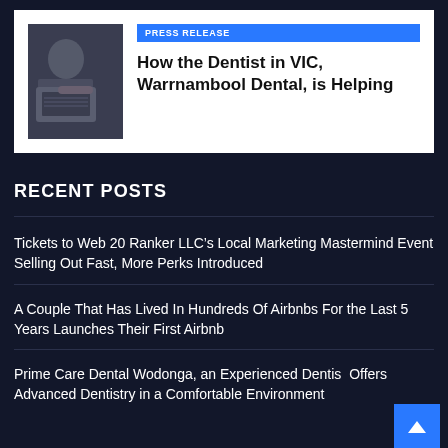[Figure (photo): Photo of a person working on a laptop, viewed from above/side angle]
PRESS RELEASE
How the Dentist in VIC, Warrnambool Dental, is Helping
RECENT POSTS
Tickets to Web 20 Ranker LLC’s Local Marketing Mastermind Event Selling Out Fast, More Perks Introduced
A Couple That Has Lived In Hundreds Of Airbnbs For the Last 5 Years Launches Their First Airbnb
Prime Care Dental Wodonga, an Experienced Dentist Offers Advanced Dentistry in a Comfortable Environment